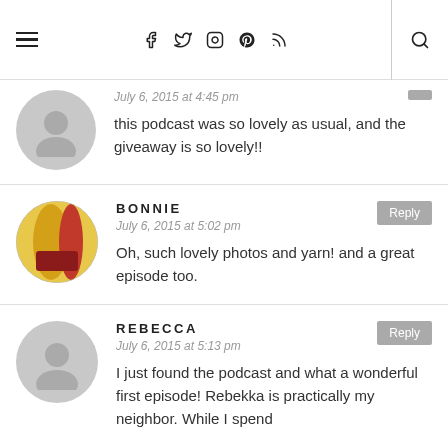Navigation bar with hamburger menu, social icons (Facebook, Twitter, Instagram, Pinterest, RSS), and search icon
July 6, 2015 at 4:45 pm
this podcast was so lovely as usual, and the giveaway is so lovely!!
BONNIE
July 6, 2015 at 5:02 pm
Oh, such lovely photos and yarn! and a great episode too.
REBECCA
July 6, 2015 at 5:13 pm
I just found the podcast and what a wonderful first episode! Rebekka is practically my neighbor. While I spend